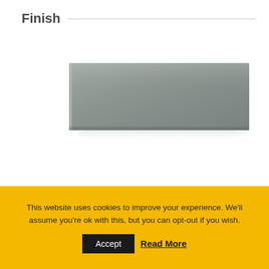Finish
[Figure (photo): A glossy grey flat panel/slab shown at a slight angle with a soft reflection underneath, on a white background.]
This website uses cookies to improve your experience. We'll assume you're ok with this, but you can opt-out if you wish.
Accept  Read More